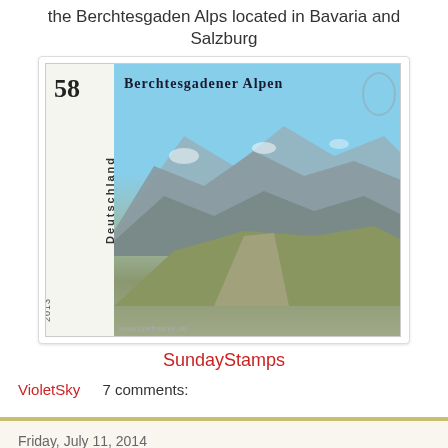the Berchtesgaden Alps located in Bavaria and Salzburg
[Figure (photo): A German postage stamp (Deutschland, 58 cents, 2013) depicting the Berchtesgadener Alpen (Berchtesgaden Alps) with a mountain landscape photo and perforated edges]
SundayStamps
VioletSky    7 comments:
Friday, July 11, 2014
past and future